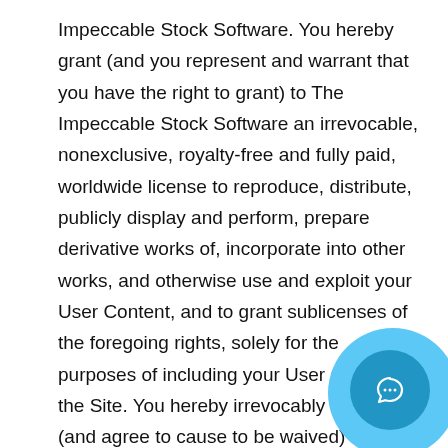Impeccable Stock Software. You hereby grant (and you represent and warrant that you have the right to grant) to The Impeccable Stock Software an irrevocable, nonexclusive, royalty-free and fully paid, worldwide license to reproduce, distribute, publicly display and perform, prepare derivative works of, incorporate into other works, and otherwise use and exploit your User Content, and to grant sublicenses of the foregoing rights, solely for the purposes of including your User Content in the Site. You hereby irrevocably waive (and agree to cause to be waived) any claims and assertions of moral rights or attribution with respect to your User Content. Acceptable Use Policy. The following terms constitute our "Acceptable Use Policy": You agree not to use the Site or the Community to collect, upload, transmit, or distribute any User Content that (i) violates any t